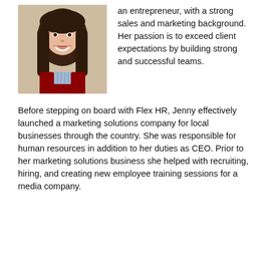[Figure (photo): Headshot of a woman with long brown hair, smiling, wearing a red top and collared shirt]
an entrepreneur, with a strong sales and marketing background. Her passion is to exceed client expectations by building strong and successful teams.
Before stepping on board with Flex HR, Jenny effectively launched a marketing solutions company for local businesses through the country. She was responsible for human resources in addition to her duties as CEO. Prior to her marketing solutions business she helped with recruiting, hiring, and creating new employee training sessions for a media company.